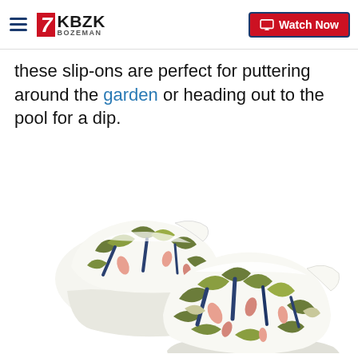KBZK Bozeman — Watch Now
these slip-ons are perfect for puttering around the garden or heading out to the pool for a dip.
[Figure (photo): A pair of Crocs classic clogs with a white base and tropical floral print in olive green, navy blue, and coral pink. Shown side by side at an angle.]